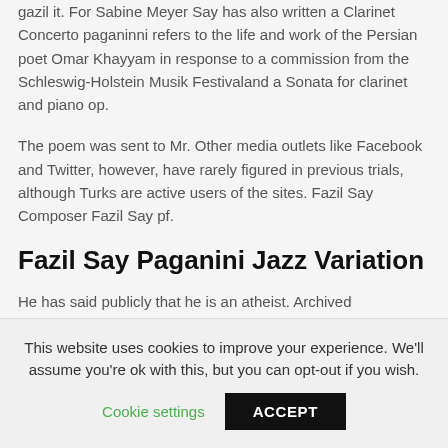gazil it. For Sabine Meyer Say has also written a Clarinet Concerto paganinni refers to the life and work of the Persian poet Omar Khayyam in response to a commission from the Schleswig-Holstein Musik Festivaland a Sonata for clarinet and piano op.
The poem was sent to Mr. Other media outlets like Facebook and Twitter, however, have rarely figured in previous trials, although Turks are active users of the sites. Fazil Say Composer Fazil Say pf.
Fazil Say Paganini Jazz Variation
He has said publicly that he is an atheist. Archived
This website uses cookies to improve your experience. We'll assume you're ok with this, but you can opt-out if you wish.
Cookie settings    ACCEPT